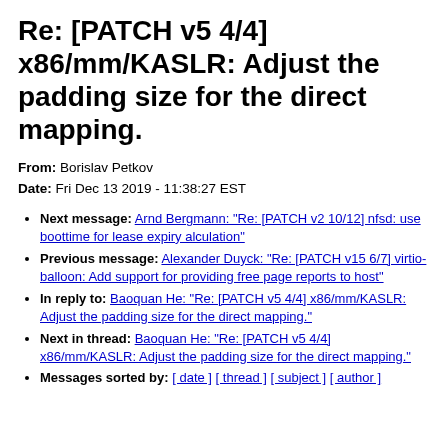Re: [PATCH v5 4/4] x86/mm/KASLR: Adjust the padding size for the direct mapping.
From: Borislav Petkov
Date: Fri Dec 13 2019 - 11:38:27 EST
Next message: Arnd Bergmann: "Re: [PATCH v2 10/12] nfsd: use boottime for lease expiry alculation"
Previous message: Alexander Duyck: "Re: [PATCH v15 6/7] virtio-balloon: Add support for providing free page reports to host"
In reply to: Baoquan He: "Re: [PATCH v5 4/4] x86/mm/KASLR: Adjust the padding size for the direct mapping."
Next in thread: Baoquan He: "Re: [PATCH v5 4/4] x86/mm/KASLR: Adjust the padding size for the direct mapping."
Messages sorted by: [ date ] [ thread ] [ subject ] [ author ]